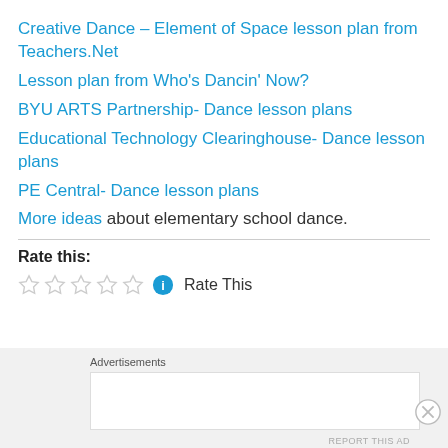Creative Dance – Element of Space lesson plan from Teachers.Net
Lesson plan from Who's Dancin' Now?
BYU ARTS Partnership- Dance lesson plans
Educational Technology Clearinghouse- Dance lesson plans
PE Central- Dance lesson plans
More ideas about elementary school dance.
Rate this:
[Figure (other): Five empty star rating icons followed by a blue info icon and 'Rate This' text]
Advertisements